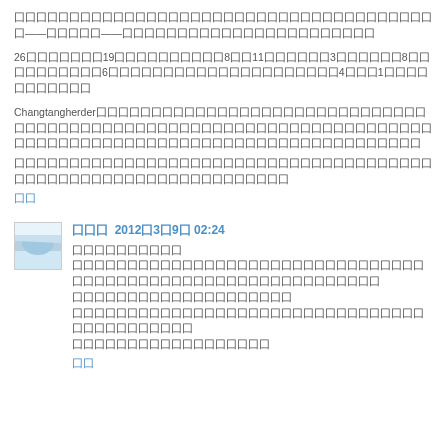囗囗囗囗囗囗囗囗囗囗囗囗囗囗囗囗囗囗囗囗囗囗囗囗囗囗囗囗囗囗囗囗囗囗囗囗囗囗囗——囗囗囗囗囗——囗囗囗囗囗囗囗囗囗囗囗囗囗囗囗囗囗囗囗囗囗囗囗
26囗囗囗囗囗囗囗19囗囗囗囗囗囗囗囗囗囗8囗囗11囗囗囗囗囗囗3囗囗囗囗囗囗8囗囗囗囗囗囗囗囗囗囗6囗囗囗囗囗囗囗囗囗囗囗囗囗囗囗囗囗囗囗囗囗4囗囗囗1囗囗囗囗囗囗囗囗囗囗囗
Changtangherder囗囗囗囗囗囗囗囗囗囗囗囗囗囗囗囗囗囗囗囗囗囗囗囗囗囗囗囗囗囗囗囗囗囗囗囗囗囗囗囗囗囗囗囗囗囗囗囗囗囗囗囗囗囗囗囗囗囗囗囗囗囗囗囗囗囗囗囗囗囗囗囗囗囗囗囗囗囗囗囗囗囗囗囗囗囗囗囗囗囗囗囗囗囗
囗囗囗囗囗囗囗囗囗囗囗囗囗囗囗囗囗囗囗囗囗囗囗囗囗囗囗囗囗囗囗囗囗囗囗囗囗囗囗囗囗囗囗囗囗囗囗囗囗囗囗囗囗囗囗囗囗囗囗囗囗囗囗
囗囗
囗囗囗 2012囗3囗9囗 02:24
囗囗囗囗囗囗囗囗囗囗
囗囗囗囗囗囗囗囗囗囗囗囗囗囗囗囗囗囗囗囗囗囗囗囗囗囗囗囗囗囗囗囗囗囗囗囗囗囗囗囗囗囗囗囗囗囗囗囗囗囗囗囗囗囗囗囗囗囗囗囗
囗囗囗囗囗囗囗囗囗囗囗囗囗囗囗囗囗囗囗囗
囗囗囗囗囗囗囗囗囗囗囗囗囗囗囗囗囗囗囗囗囗囗囗囗囗囗囗囗囗囗囗囗囗囗囗囗囗囗囗囗囗囗囗
囗囗囗囗囗囗囗囗囗囗囗囗囗囗囗囗囗囗
囗囗